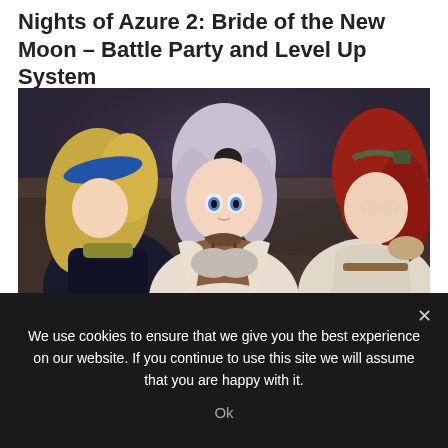Nights of Azure 2: Bride of the New Moon – Battle Party and Level Up System
[Figure (screenshot): Screenshot from Nights of Azure 2 video game showing three anime-style female characters: a blonde character on the left with a blue hairband, a silver-haired character in the center wearing brown armor, and a red-haired character on the right.]
KOEI TECMO America introduced new details on the
We use cookies to ensure that we give you the best experience on our website. If you continue to use this site we will assume that you are happy with it.